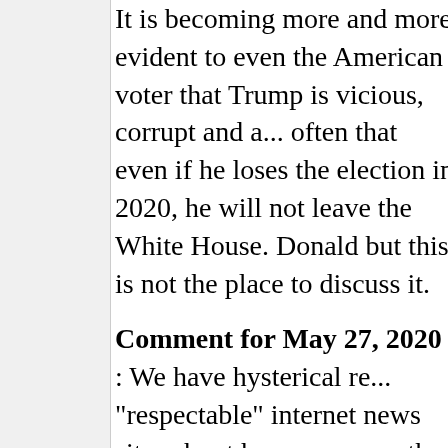It is becoming more and more evident to even the American voter that Trump is vicious, corrupt and a... often that even if he loses the election in 2020, he will not leave the White House. Donald but this is not the place to discuss it.
Comment for May 27, 2020 : We have hysterical re... "respectable" internet news sites about how corona ... the population in the United States and, buried on G... articles showing the relative sickness and death num... lower than, let us say, Reuters or the Guardian are w... the "respectable" media is grossly incompetent or th... inaccurate hysteria is rigged from the first word. I w... the fearful headlines to show you what I am talking ... are, buried, some stories about why the convenient v... Trump and his rich friends enormously. I have inclu... as well. In the end, the public will make up its own m... others, feel that Fat Donny and his crew of slime-ba... project into a wall;
The Guardian…
The US... 100,000...